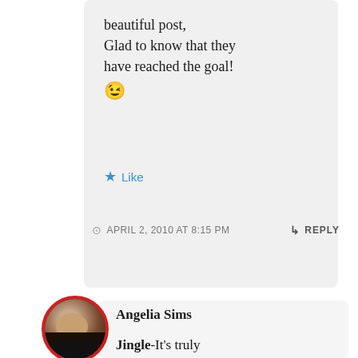beautiful post,
Glad to know that they have reached the goal!
😉
Like
APRIL 2, 2010 AT 8:15 PM
REPLY
[Figure (photo): Circular avatar photo of Angelia Sims, a woman with dark hair wearing a black jacket, framed with a red circular border]
Angelia Sims
Jingle-It's truly